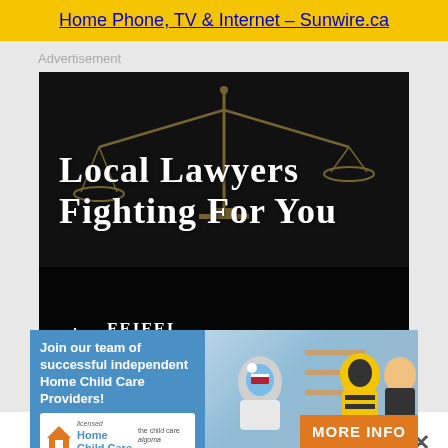Home Phone, TV & Internet – Sunwire.ca
Advertisement
[Figure (photo): Law firm advertisement for Feifel Gualazzi Personal Injury Law Firm on dark background with scales of justice image and two lawyers. Text reads: LOCAL LAWYERS FIGHTING FOR YOU. PERSONAL INJURY LAW FIRM.]
[Figure (photo): Child care advertisement: blue panel with text 'Join our team of successful independent Home Child Care Providers!' with Home Child Care logo, and photo of children playing dressed in costumes with MORE INFO button.]